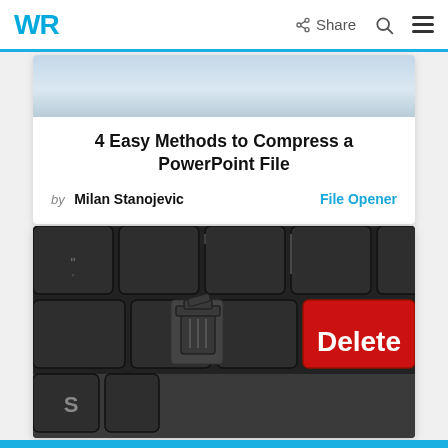WR | Share
[Figure (photo): Cropped top of a keyboard/laptop photo visible at the top of card 1]
4 Easy Methods to Compress a PowerPoint File
by Milan Stanojevic  File Opener
[Figure (photo): Close-up 3D render of a dark keyboard with a red Delete key and a trash can icon on it]